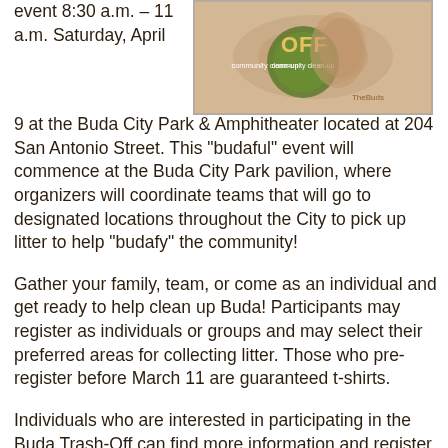event 8:30 a.m. – 11 a.m. Saturday, April
[Figure (photo): Buda Trash-Off community clean-up event logo/image with text 'OFF community clean-up' and TheBuds branding on a tan/beige background]
9 at the Buda City Park & Amphitheater located at 204 San Antonio Street. This "budaful" event will commence at the Buda City Park pavilion, where organizers will coordinate teams that will go to designated locations throughout the City to pick up litter to help "budafy" the community!
Gather your family, team, or come as an individual and get ready to help clean up Buda! Participants may register as individuals or groups and may select their preferred areas for collecting litter. Those who pre-register before March 11 are guaranteed t-shirts.
Individuals who are interested in participating in the Buda Trash-Off can find more information and register to participate by visiting the City's website at www.ci.buda.tx.us/budatrashoff.